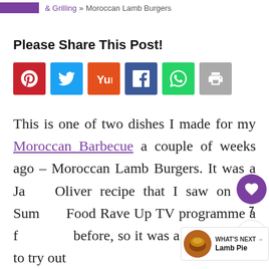& Grilling » Moroccan Lamb Burgers
Please Share This Post!
[Figure (other): Social sharing buttons: Pinterest (red), Twitter (blue), Yummly (orange), Facebook (dark blue), WhatsApp (green), Print (gray)]
This is one of two dishes I made for my Moroccan Barbecue a couple of weeks ago – Moroccan Lamb Burgers. It was a Jamie Oliver recipe that I saw on his Summer Food Rave Up TV programme a few years before, so it was a good excuse to try out
[Figure (other): Floating share widget with heart icon showing 7 saves and a share icon]
[Figure (other): What's Next widget showing Lamb Pie with circular food image thumbnail]